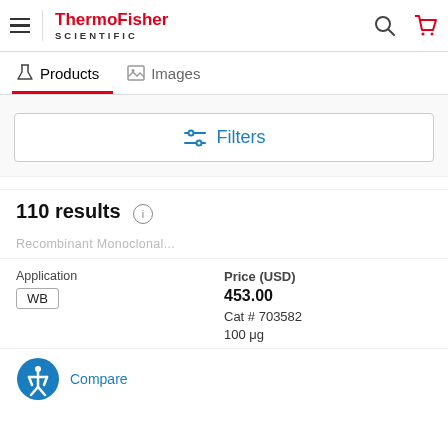ThermoFisher SCIENTIFIC — navigation header with hamburger menu, logo, search and cart icons
Products | Images — tab navigation
Filters
110 results
Recombinant Monoclonal...
Application
WB
Price (USD)
453.00
Cat # 703582
100 μg
Compare